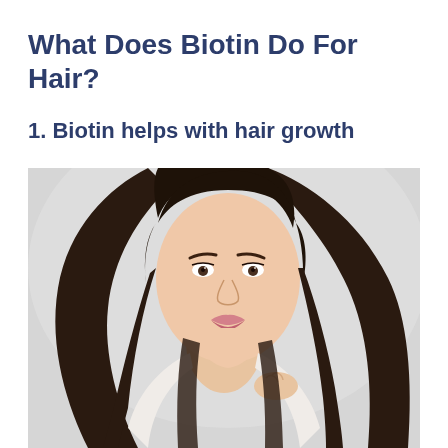What Does Biotin Do For Hair?
1. Biotin helps with hair growth
[Figure (photo): A young woman with long, dark, straight healthy hair holding the ends of her hair near her chin, photographed against a light grey background. The image illustrates hair growth and health associated with biotin.]